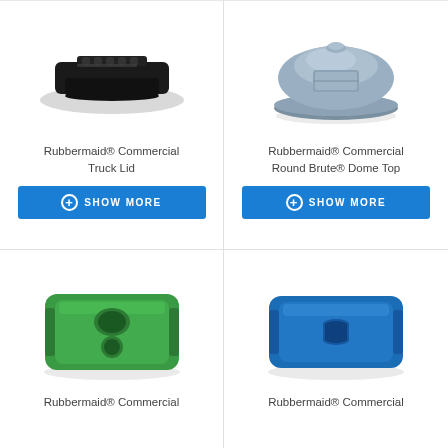[Figure (photo): Rubbermaid Commercial Truck Lid - black ribbed plastic lid]
Rubbermaid® Commercial Truck Lid
SHOW MORE
[Figure (photo): Rubbermaid Commercial Round Brute Dome Top - gray dome-shaped lid]
Rubbermaid® Commercial Round Brute® Dome Top
SHOW MORE
[Figure (photo): Rubbermaid Commercial green recycling lid with two holes]
Rubbermaid® Commercial
[Figure (photo): Rubbermaid Commercial blue recycling lid with slot opening]
Rubbermaid® Commercial